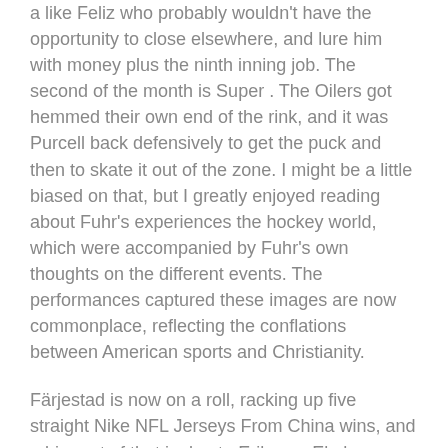a like Feliz who probably wouldn't have the opportunity to close elsewhere, and lure him with money plus the ninth inning job. The second of the month is Super . The Oilers got hemmed their own end of the rink, and it was Purcell back defensively to get the puck and then to skate it out of the zone. I might be a little biased on that, but I greatly enjoyed reading about Fuhr's experiences the hockey world, which were accompanied by Fuhr's own thoughts on the different events. The performances captured these images are now commonplace, reflecting the conflations between American sports and Christianity.
Färjestad is now on a roll, racking up five straight Nike NFL Jerseys From China wins, and a big part of that is due to Eriksson Ek. has really come along. Husband: Those noises like the ones Homer Simpson makes when he looks at a stick of butter…'Mmmmmmmm'…. My guess: The Giants are interested , but still as a fallback if Sandoval spurns them. They might end up catching the minors. Upon reaching third